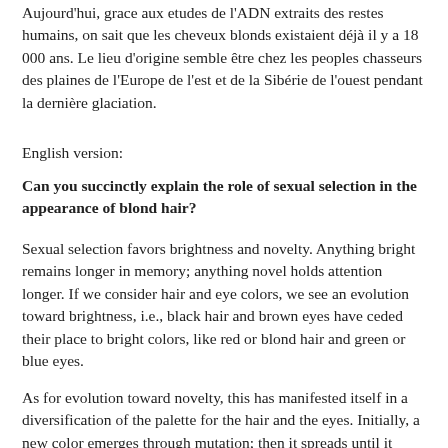Aujourd'hui, grace aux etudes de l'ADN extraits des restes humains, on sait que les cheveux blonds existaient déjà il y a 18 000 ans. Le lieu d'origine semble être chez les peoples chasseurs des plaines de l'Europe de l'est et de la Sibérie de l'ouest pendant la dernière glaciation.
English version:
Can you succinctly explain the role of sexual selection in the appearance of blond hair?
Sexual selection favors brightness and novelty. Anything bright remains longer in memory; anything novel holds attention longer. If we consider hair and eye colors, we see an evolution toward brightness, i.e., black hair and brown eyes have ceded their place to bright colors, like red or blond hair and green or blue eyes.
As for evolution toward novelty, this has manifested itself in a diversification of the palette for the hair and the eyes. Initially, a new color emerges through mutation; then it spreads until it loses its novelty; at that moment, the pressure of sexual selection